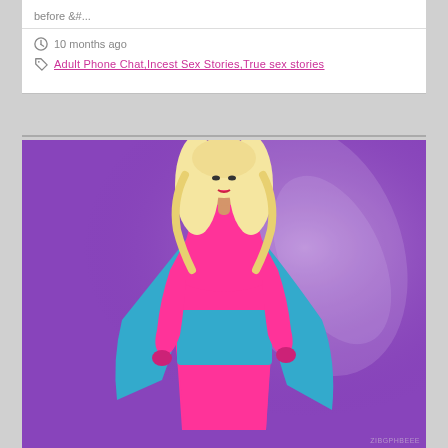before &#...
10 months ago
Adult Phone Chat,Incest Sex Stories,True sex stories
[Figure (photo): Person wearing a pink and blue latex outfit with a long blonde wig, posing against a purple background with light streaks. The outfit consists of a pink corset top, blue waist cincher, pink skirt, blue cape, and pink latex gloves.]